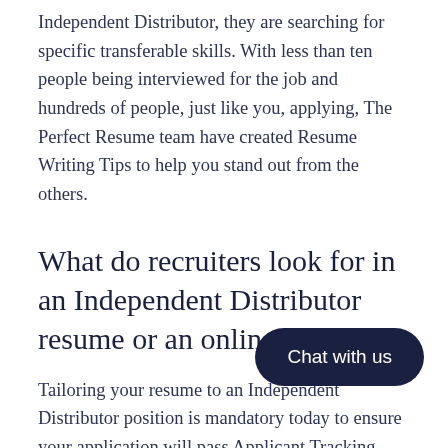Independent Distributor, they are searching for specific transferable skills. With less than ten people being interviewed for the job and hundreds of people, just like you, applying, The Perfect Resume team have created Resume Writing Tips to help you stand out from the others.
What do recruiters look for in an Independent Distributor resume or an online profile?
Tailoring your resume to an Independent Distributor position is mandatory today to ensure your application will pass Applicant Tracking Systems (ATS). In doing so, your resume will be read by the prospective employer. Then, fingers crossed, you